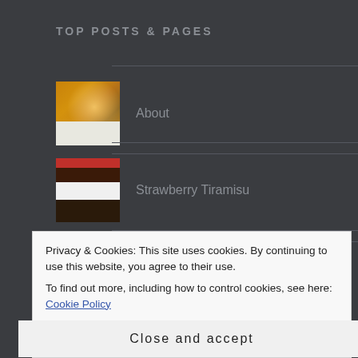TOP POSTS & PAGES
About
Strawberry Tiramisu
Eggplant Rollups
Privacy & Cookies: This site uses cookies. By continuing to use this website, you agree to their use.
To find out more, including how to control cookies, see here: Cookie Policy
Close and accept